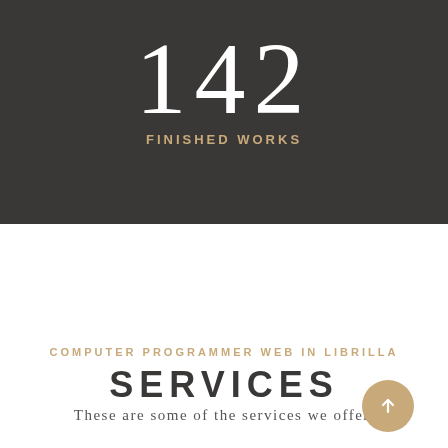142
FINISHED WORKS
COMPUTER PROGRAMMER WEB IN LIBRILLA
SERVICES
These are some of the services we offer.